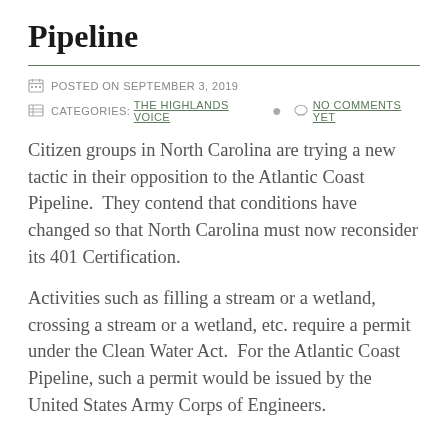Pipeline
POSTED ON SEPTEMBER 3, 2019
CATEGORIES: THE HIGHLANDS VOICE   NO COMMENTS YET
Citizen groups in North Carolina are trying a new tactic in their opposition to the Atlantic Coast Pipeline.  They contend that conditions have changed so that North Carolina must now reconsider its 401 Certification.
Activities such as filling a stream or a wetland, crossing a stream or a wetland, etc. require a permit under the Clean Water Act.  For the Atlantic Coast Pipeline, such a permit would be issued by the United States Army Corps of Engineers.